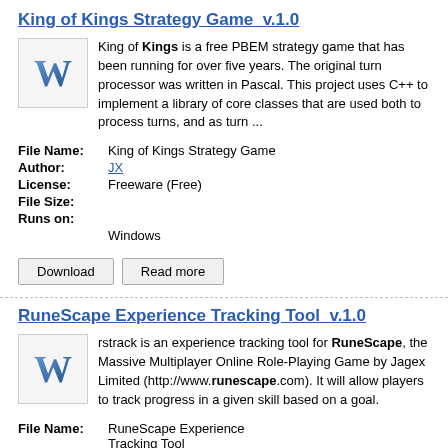King of Kings Strategy Game  v.1.0
King of Kings is a free PBEM strategy game that has been running for over five years. The original turn processor was written in Pascal. This project uses C++ to implement a library of core classes that are used both to process turns, and as turn ...
| File Name: | King of Kings Strategy Game |
| Author: | JX |
| License: | Freeware (Free) |
| File Size: |  |
| Runs on: | Windows |
Download
Read more
RuneScape Experience Tracking Tool  v.1.0
rstrack is an experience tracking tool for RuneScape, the Massive Multiplayer Online Role-Playing Game by Jagex Limited (http://www.runescape.com). It will allow players to track progress in a given skill based on a goal.
| File Name: | RuneScape Experience Tracking Tool |
| Author: | Jakykong |